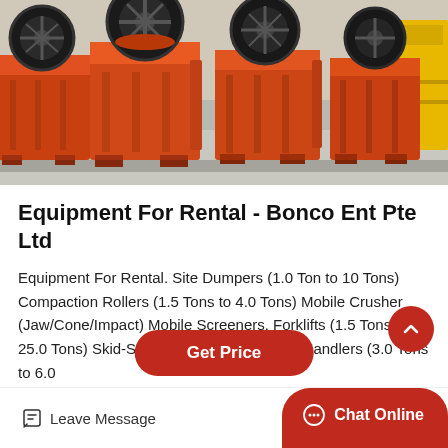[Figure (photo): Industrial orange jaw crushers lined up in a warehouse/factory floor, viewed from the front at a slight angle. Multiple large orange-painted heavy crushing machines with flywheels visible.]
Equipment For Rental - Bonco Ent Pte Ltd
Equipment For Rental. Site Dumpers (1.0 Ton to 10 Tons) Compaction Rollers (1.5 Tons to 4.0 Tons) Mobile Crusher (Jaw/Cone/Impact) Mobile Screeners. Forklifts (1.5 Tons to 25.0 Tons) Skid-Steer Loaders. Telescopic Handlers (3.0 Tons to 6.0
Get Price
Leave Message
Chat Online